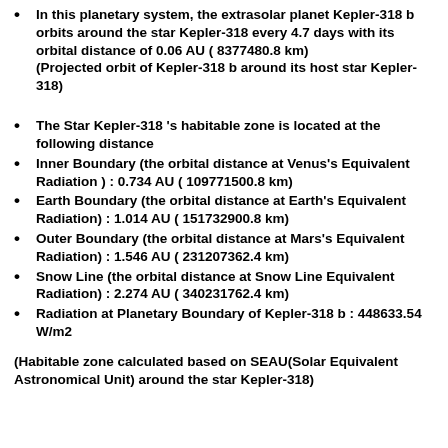In this planetary system, the extrasolar planet Kepler-318 b orbits around the star Kepler-318 every 4.7 days with its orbital distance of 0.06 AU ( 8377480.8 km)
(Projected orbit of Kepler-318 b around its host star Kepler-318)
The Star Kepler-318 's habitable zone is located at the following distance
Inner Boundary (the orbital distance at Venus's Equivalent Radiation ) : 0.734 AU ( 109771500.8 km)
Earth Boundary (the orbital distance at Earth's Equivalent Radiation) : 1.014 AU ( 151732900.8 km)
Outer Boundary (the orbital distance at Mars's Equivalent Radiation) : 1.546 AU ( 231207362.4 km)
Snow Line (the orbital distance at Snow Line Equivalent Radiation) : 2.274 AU ( 340231762.4 km)
Radiation at Planetary Boundary of Kepler-318 b : 448633.54 W/m2
(Habitable zone calculated based on SEAU(Solar Equivalent Astronomical Unit) around the star Kepler-318)